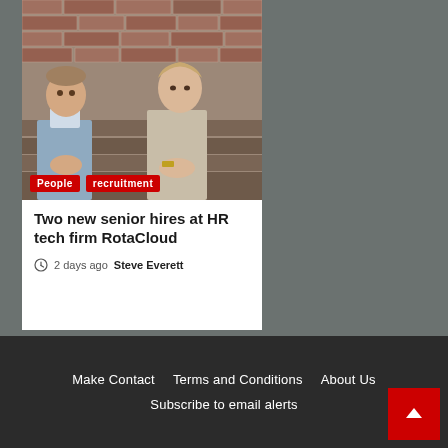[Figure (photo): Two people (a man and a woman) sitting side by side in front of a brick wall backdrop. The man is on the left wearing a light blue shirt, the woman is on the right wearing a sleeveless beige top and light green trousers.]
People  recruitment
Two new senior hires at HR tech firm RotaCloud
2 days ago  Steve Everett
Make Contact   Terms and Conditions   About Us   Subscribe to email alerts